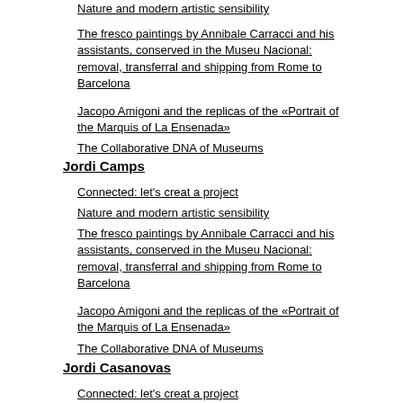Nature and modern artistic sensibility
The fresco paintings by Annibale Carracci and his assistants, conserved in the Museu Nacional: removal, transferral and shipping from Rome to Barcelona
Jacopo Amigoni and the replicas of the «Portrait of the Marquis of La Ensenada»
The Collaborative DNA of Museums
Jordi Camps
Connected: let's creat a project
Nature and modern artistic sensibility
The fresco paintings by Annibale Carracci and his assistants, conserved in the Museu Nacional: removal, transferral and shipping from Rome to Barcelona
Jacopo Amigoni and the replicas of the «Portrait of the Marquis of La Ensenada»
The Collaborative DNA of Museums
Jordi Casanovas
Connected: let's creat a project